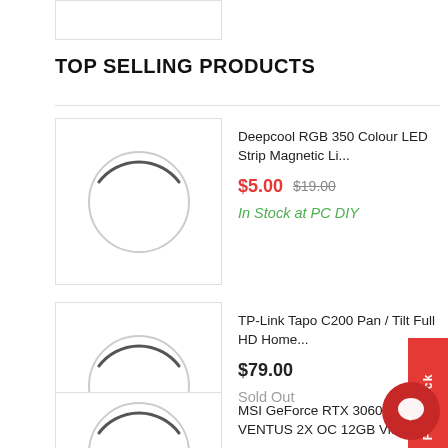TOP SELLING PRODUCTS
Deepcool RGB 350 Colour LED Strip Magnetic Li... $5.00 $19.00 In Stock at PC DIY
TP-Link Tapo C200 Pan / Tilt Full HD Home... $79.00 Sold Out
MSI GeForce RTX 3060 VENTUS 2X OC 12GB Vide... $599.00 In Stock at PC DIY